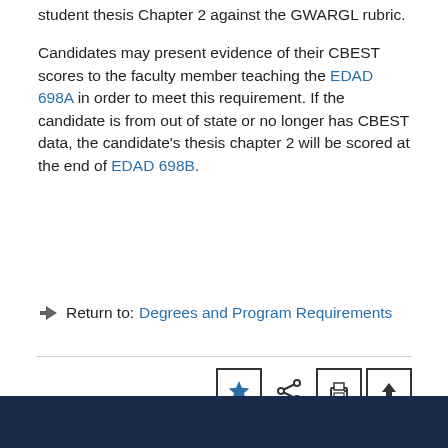student thesis Chapter 2 against the GWARGL rubric.
Candidates may present evidence of their CBEST scores to the faculty member teaching the EDAD 698A in order to meet this requirement. If the candidate is from out of state or no longer has CBEST data, the candidate’s thesis chapter 2 will be scored at the end of EDAD 698B.
Return to: Degrees and Program Requirements